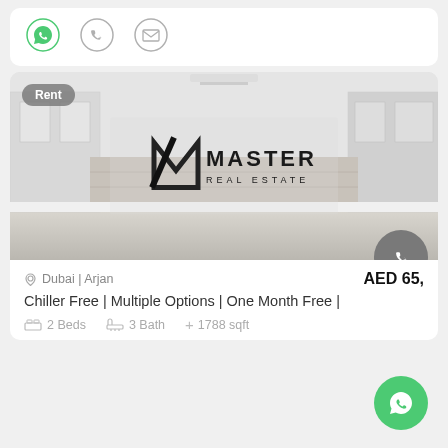[Figure (infographic): Top contact action bar with WhatsApp (green icon), phone, and email icons on white card background]
[Figure (photo): Real estate listing card showing a kitchen interior photo with Masters Real Estate logo overlay, Rent badge, location Dubai | Arjan, price AED 65,xxx, property description Chiller Free | Multiple Options | One Month Free |, specs 2 Beds, 3 Bath, 1788 sqft, with phone and WhatsApp floating action buttons]